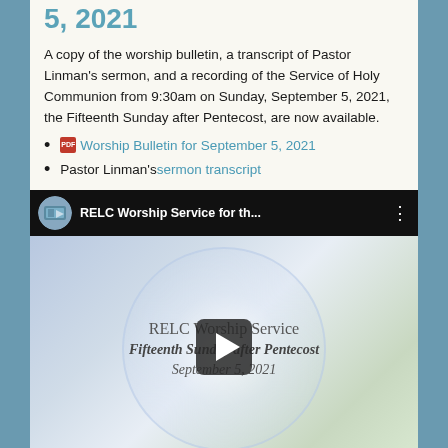5, 2021
A copy of the worship bulletin, a transcript of Pastor Linman's sermon, and a recording of the Service of Holy Communion from 9:30am on Sunday, September 5, 2021, the Fifteenth Sunday after Pentecost, are now available.
Worship Bulletin for September 5, 2021
Pastor Linman's sermon transcript
[Figure (screenshot): YouTube video thumbnail showing 'RELC Worship Service for th...' with play button. The thumbnail shows 'RELC Worship Service', 'Fifteenth Sunday after Pentecost', 'September 5, 2021' on a light blue/green gradient background.]